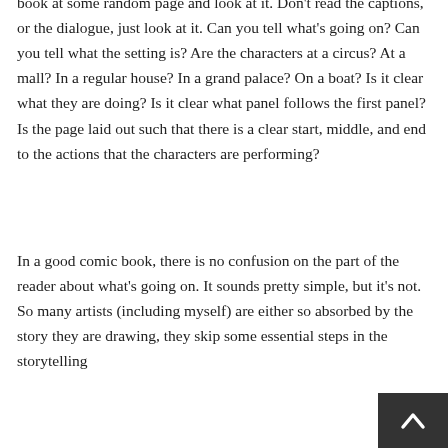book at some random page and look at it. Don't read the captions, or the dialogue, just look at it. Can you tell what's going on? Can you tell what the setting is? Are the characters at a circus? At a mall? In a regular house? In a grand palace? On a boat? Is it clear what they are doing? Is it clear what panel follows the first panel? Is the page laid out such that there is a clear start, middle, and end to the actions that the characters are performing?
In a good comic book, there is no confusion on the part of the reader about what's going on. It sounds pretty simple, but it's not. So many artists (including myself) are either so absorbed by the story they are drawing, they skip some essential steps in the storytelling